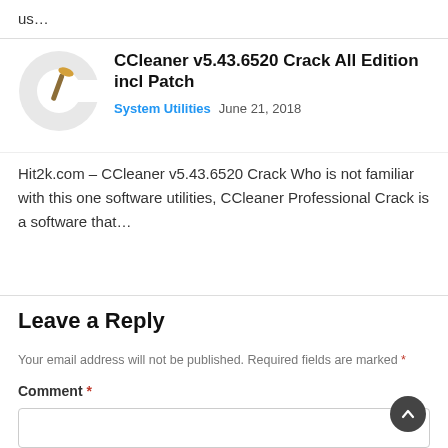us…
[Figure (logo): CCleaner red 'C' logo with broom icon]
CCleaner v5.43.6520 Crack All Edition incl Patch
System Utilities   June 21, 2018
Hit2k.com – CCleaner v5.43.6520 Crack Who is not familiar with this one software utilities, CCleaner Professional Crack is a software that…
Leave a Reply
Your email address will not be published. Required fields are marked *
Comment *